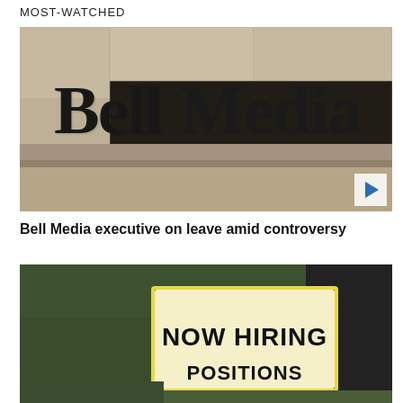MOST-WATCHED
[Figure (photo): Bell Media building exterior sign showing 'BellMedia' lettering in dark font on a stone/concrete wall, beige and grey tones, with a video play button overlay in the bottom right corner.]
Bell Media executive on leave amid controversy
[Figure (photo): A marquee sign reading 'NOW HIRING POSITIONS' against a background of green trees and a dark pillar on the right. Sign has white backlit lettering on yellow/white background.]